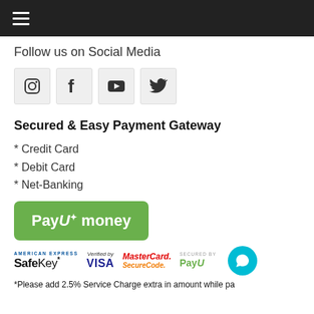[Figure (screenshot): Top navigation bar with hamburger menu icon on dark background]
Follow us on Social Media
[Figure (illustration): Social media icons: Instagram, Facebook, YouTube, Twitter in grey boxes]
Secured & Easy Payment Gateway
* Credit Card
* Debit Card
* Net-Banking
[Figure (logo): PayUmoney green button logo]
[Figure (logo): Payment security logos: American Express SafeKey, Verified by VISA, MasterCard SecureCode, Secured by PayU, chat bubble icon]
*Please add 2.5% Service Charge extra in amount while pa